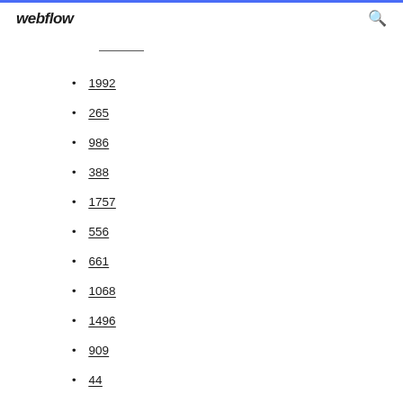webflow
1992
265
986
388
1757
556
661
1068
1496
909
44
544